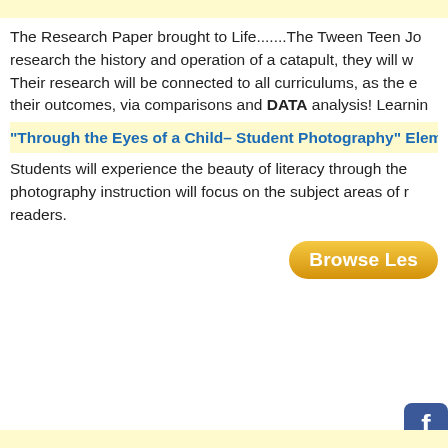The Research Paper brought to Life.......The Tween Teen Jo research the history and operation of a catapult, they will w Their research will be connected to all curriculums, as the e their outcomes, via comparisons and DATA analysis! Learnin
“Through the Eyes of a Child– Student Photography” Eleme
Students will experience the beauty of literacy through the photography instruction will focus on the subject areas of r readers.
[Figure (other): Browse Les button - orange/yellow rounded button partially visible]
[Figure (other): Facebook blue button partially visible]
Register | Invite | Vendors | R
Digital Wish is a U.S.